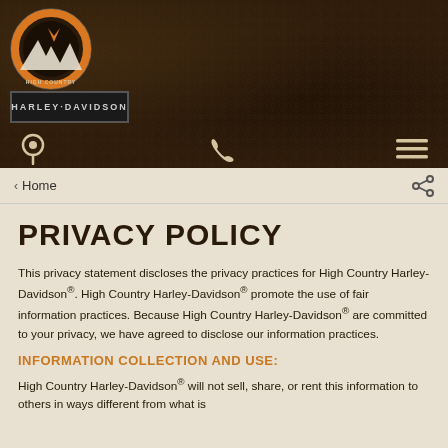[Figure (logo): High Country Harley-Davidson logo with circular mountain/eagle emblem above a black badge reading HARLEY-DAVIDSON]
Navigation bar with location pin icon, phone icon, and hamburger menu icon on dark leather-textured background
‹ Home
PRIVACY POLICY
This privacy statement discloses the privacy practices for High Country Harley-Davidson®. High Country Harley-Davidson® promote the use of fair information practices. Because High Country Harley-Davidson® are committed to your privacy, we have agreed to disclose our information practices.
INFORMATION COLLECTION AND USE:
High Country Harley-Davidson® will not sell, share, or rent this information to others in ways different from what is